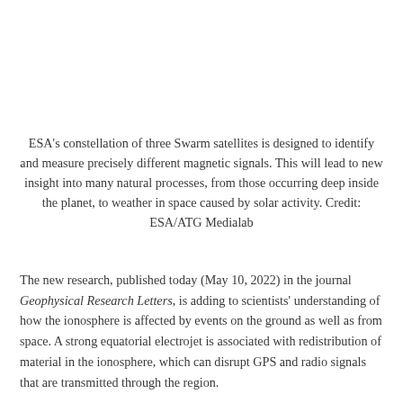ESA's constellation of three Swarm satellites is designed to identify and measure precisely different magnetic signals. This will lead to new insight into many natural processes, from those occurring deep inside the planet, to weather in space caused by solar activity. Credit: ESA/ATG Medialab
The new research, published today (May 10, 2022) in the journal Geophysical Research Letters, is adding to scientists' understanding of how the ionosphere is affected by events on the ground as well as from space. A strong equatorial electrojet is associated with redistribution of material in the ionosphere, which can disrupt GPS and radio signals that are transmitted through the region.